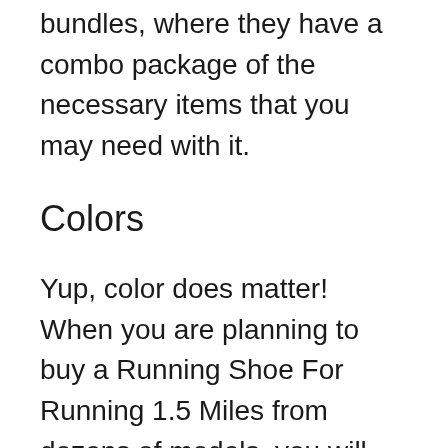bundles, where they have a combo package of the necessary items that you may need with it.
Colors
Yup, color does matter! When you are planning to buy a Running Shoe For Running 1.5 Miles from dozens of models, you will definitely wish to get your desired color. As, color is the symbol of choice, aristocracy and represents your personal taste. We have reviewed some of the best Running Shoe For Running 1.5